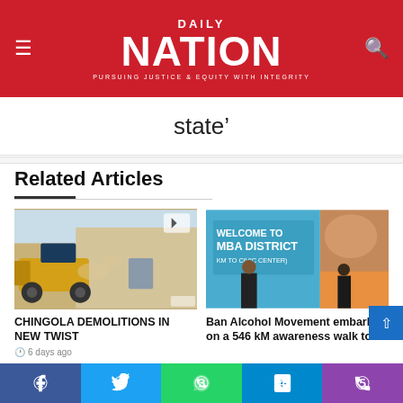DAILY NATION — PURSUING JUSTICE & EQUITY WITH INTEGRITY
state'
Related Articles
[Figure (photo): A yellow bulldozer demolishing a building, dust in the air]
CHINGOLA DEMOLITIONS IN NEW TWIST
6 days ago
[Figure (photo): A sign reading WELCOME TO MBA DISTRICT, KM TO CIVIC CENTER, with a person standing in front and a close-up of a hand]
Ban Alcohol Movement embark on a 546 kM awareness walk to
Facebook | Twitter | WhatsApp | Telegram | Phone